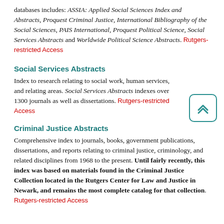databases includes: ASSIA: Applied Social Sciences Index and Abstracts, Proquest Criminal Justice, International Bibliography of the Social Sciences, PAIS International, Proquest Political Science, Social Services Abstracts and Worldwide Political Science Abstracts. Rutgers-restricted Access
Social Services Abstracts
Index to research relating to social work, human services, and relating areas. Social Services Abstracts indexes over 1300 journals as well as dissertations. Rutgers-restricted Access
Criminal Justice Abstracts
Comprehensive index to journals, books, government publications, dissertations, and reports relating to criminal justice, criminology, and related disciplines from 1968 to the present. Until fairly recently, this index was based on materials found in the Criminal Justice Collection located in the Rutgers Center for Law and Justice in Newark, and remains the most complete catalog for that collection. Rutgers-restricted Access